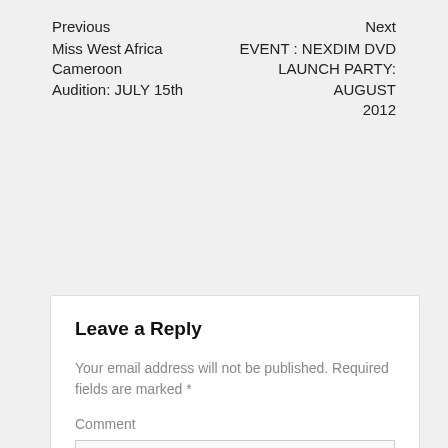Previous
Next
Miss West Africa Cameroon Audition: JULY 15th
EVENT : NEXDIM DVD LAUNCH PARTY: AUGUST 2012
Leave a Reply
Your email address will not be published. Required fields are marked *
Comment